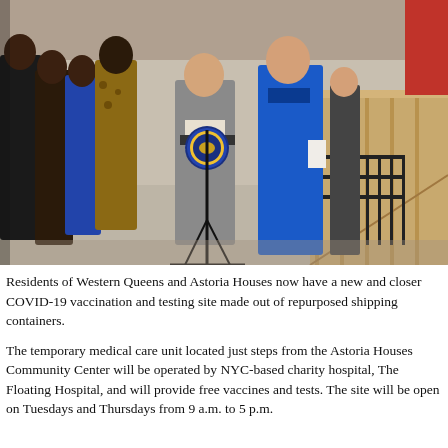[Figure (photo): Outdoor press conference with several people standing behind a podium bearing the U.S. House of Representatives seal. A woman in a gray blazer speaks at the microphone, another in a bright blue outfit stands to the right. A wooden ramp and black metal fence are visible in the background.]
Residents of Western Queens and Astoria Houses now have a new and closer COVID-19 vaccination and testing site made out of repurposed shipping containers.
The temporary medical care unit located just steps from the Astoria Houses Community Center will be operated by NYC-based charity hospital, The Floating Hospital, and will provide free vaccines and tests. The site will be open on Tuesdays and Thursdays from 9 a.m. to 5 p.m.